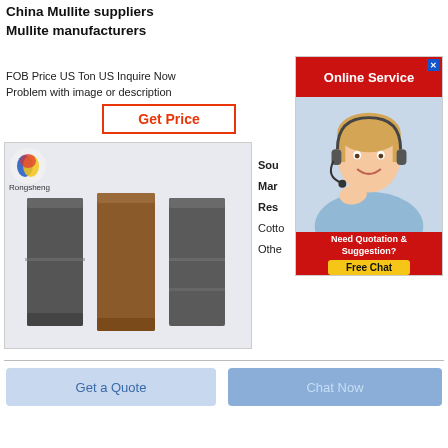China Mullite suppliers Mullite manufacturers
FOB Price US Ton US Inquire Now
Problem with image or description
Get Price
[Figure (photo): Product photo of three mullite brick samples from Rongsheng, showing two dark grey bricks and one brown brick standing upright]
Sou Mar Res Cotto Othe
[Figure (screenshot): Online Service ad banner with a woman wearing a headset smiling, with red header 'Online Service' and red footer 'Need Quotation & Suggestion? Free Chat' button in yellow]
Get a Quote
Chat Now